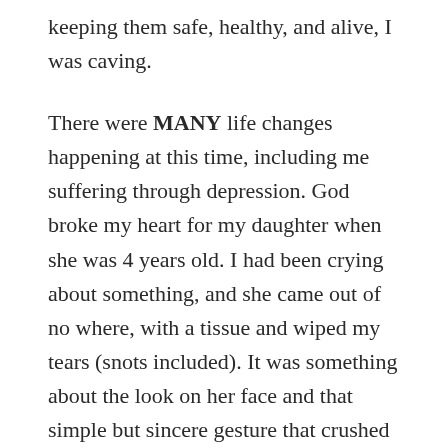keeping them safe, healthy, and alive, I was caving.
There were MANY life changes happening at this time, including me suffering through depression. God broke my heart for my daughter when she was 4 years old. I had been crying about something, and she came out of no where, with a tissue and wiped my tears (snots included). It was something about the look on her face and that simple but sincere gesture that crushed my heart in pieces. It was like something fell off my eyes and I felt a